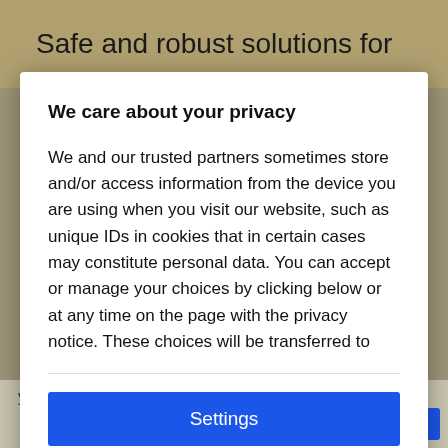Safe and robust solutions for
We care about your privacy
We and our trusted partners sometimes store and/or access information from the device you are using when you visit our website, such as unique IDs in cookies that in certain cases may constitute personal data. You can accept or manage your choices by clicking below or at any time on the page with the privacy notice. These choices will be transferred to
Settings
Accept all
you more.